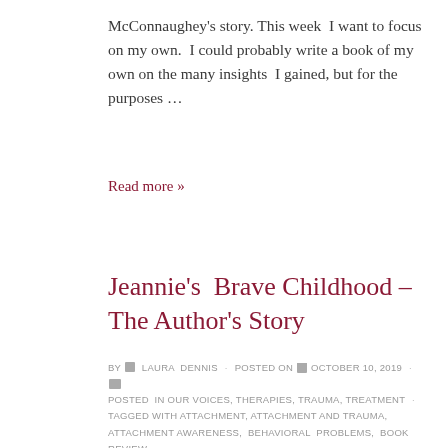McConnaughey's story. This week I want to focus on my own.  I could probably write a book of my own on the many insights  I gained, but for the purposes ...
Read more »
Jeannie's Brave Childhood – The Author's Story
BY LAURA DENNIS · POSTED ON OCTOBER 10, 2019 · POSTED IN OUR VOICES, THERAPIES, TRAUMA, TREATMENT · TAGGED WITH ATTACHMENT, ATTACHMENT AND TRAUMA, ATTACHMENT AWARENESS, BEHAVIORAL PROBLEMS, BOOK REVIEW,